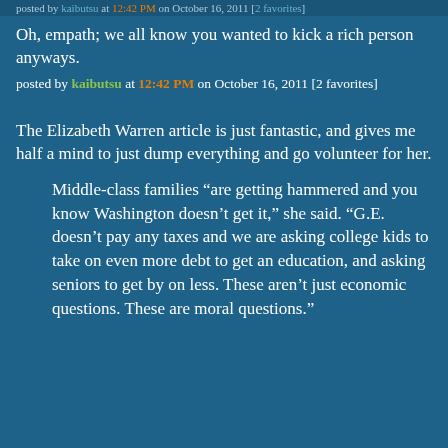posted by kaibutsu at 12:42 PM on October 16, 2011 [2 favorites]
Oh, empath; we all know you wanted to kick a rich person anyways.
posted by kaibutsu at 12:42 PM on October 16, 2011 [2 favorites]
The Elizabeth Warren article is just fantastic, and gives me half a mind to just dump everything and go volunteer for her.
Middle-class families “are getting hammered and you know Washington doesn’t get it,” she said. “G.E. doesn’t pay any taxes and we are asking college kids to take on even more debt to get an education, and asking seniors to get by on less. These aren’t just economic questions. These are moral questions.”